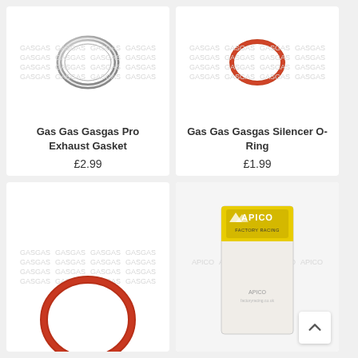[Figure (photo): Silver metallic exhaust gasket ring on white background with faint watermark text]
Gas Gas Gasgas Pro Exhaust Gasket
£2.99
[Figure (photo): Red/brown silicone O-ring on white background with faint watermark text]
Gas Gas Gasgas Silencer O-Ring
£1.99
[Figure (photo): Partially visible red/brown O-ring on white background with faint watermark text (bottom-left card, cropped)]
[Figure (photo): APICO Factory Racing branded product in clear bag (bottom-right card, cropped)]